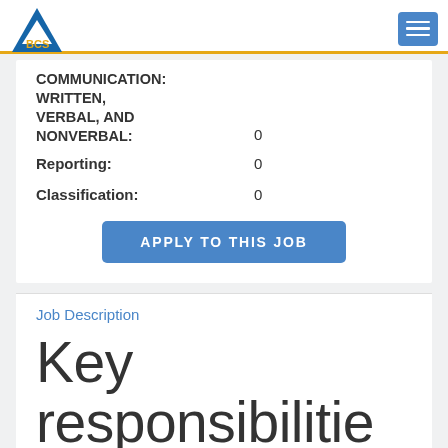BCS [logo] [hamburger menu]
COMMUNICATION: WRITTEN, VERBAL, AND NONVERBAL:    0
Reporting:    0
Classification:    0
APPLY TO THIS JOB
Job Description
Key responsibilities